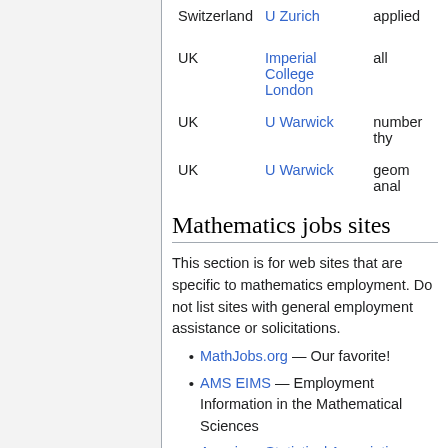| Country | Institution | Specialty |
| --- | --- | --- |
| Switzerland | U Zurich | applied |
| UK | Imperial College London | all |
| UK | U Warwick | number thy |
| UK | U Warwick | geom anal |
Mathematics jobs sites
This section is for web sites that are specific to mathematics employment. Do not list sites with general employment assistance or solicitations.
MathJobs.org — Our favorite!
AMS EIMS — Employment Information in the Mathematical Sciences
American Statistical Association
AMS Notices
Higher-Ed Jobs — mathematics section
Institute of Mathematical Statistics
math-jobs.com